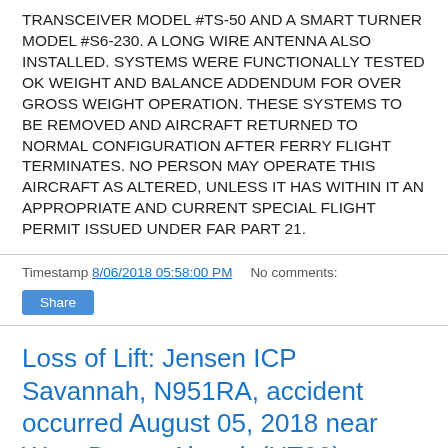TRANSCEIVER MODEL #TS-50 AND A SMART TURNER MODEL #S6-230. A LONG WIRE ANTENNA ALSO INSTALLED. SYSTEMS WERE FUNCTIONALLY TESTED OK WEIGHT AND BALANCE ADDENDUM FOR OVER GROSS WEIGHT OPERATION. THESE SYSTEMS TO BE REMOVED AND AIRCRAFT RETURNED TO NORMAL CONFIGURATION AFTER FERRY FLIGHT TERMINATES. NO PERSON MAY OPERATE THIS AIRCRAFT AS ALTERED, UNLESS IT HAS WITHIN IT AN APPROPRIATE AND CURRENT SPECIAL FLIGHT PERMIT ISSUED UNDER FAR PART 21.
Timestamp 8/06/2018 05:58:00 PM   No comments:
Share
Loss of Lift: Jensen ICP Savannah, N951RA, accident occurred August 05, 2018 near West Desert Airpark (UT99), Fairfield, Utah